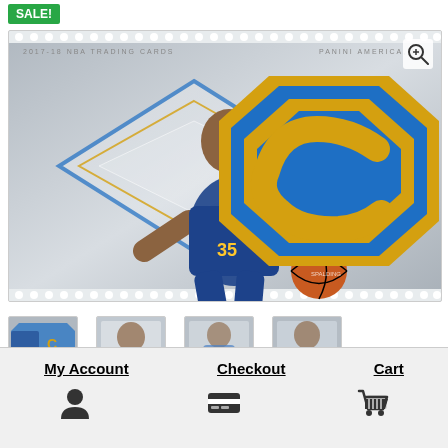SALE!
[Figure (photo): NBA trading card product image — Kevin Durant in Golden State Warriors uniform dribbling basketball, with a large blue and gold letter C medallion/patch on the right side. Header text reads '2017-18 NBA TRADING CARDS' and 'PANINI AMERICA, IN'. Magnify icon in top right corner.]
[Figure (photo): Thumbnail 1: Same card image as main - Kevin Durant with letter C]
[Figure (photo): Thumbnail 2: Card back or alternate view]
[Figure (photo): Thumbnail 3: Another card alternate view]
[Figure (photo): Thumbnail 4: Another card alternate view]
My Account
Checkout
Cart